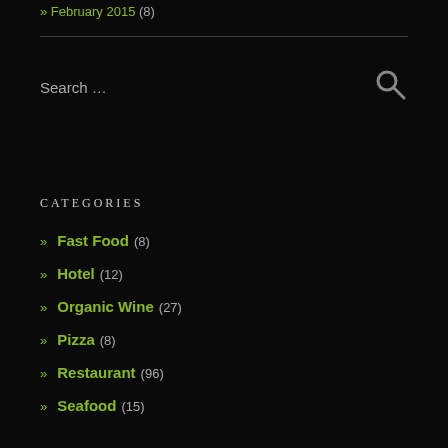» February 2015 (8)
CATEGORIES
» Fast Food (8)
» Hotel (12)
» Organic Wine (27)
» Pizza (8)
» Restaurant (96)
» Seafood (15)